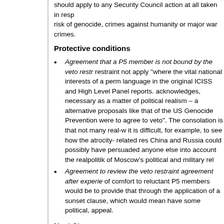should apply to any Security Council action at all taken in response to a risk of genocide, crimes against humanity or major war crimes.
Protective conditions
Agreement that a P5 member is not bound by the veto restraint not apply “where the vital national interests of a permanent member” – language in the original ICISS and High Level Panel reports. This acknowledges, necessary as a matter of political realism – as alternative proposals like that of the US Genocide Prevention were to agree to veto”. The consolation is that not many real-world it is difficult, for example, to see how the atrocity- related resolution China and Russia could possibly have persuaded anyone else into account the realpolitik of Moscow’s political and military relations.
Agreement to review the veto restraint agreement after experience of comfort to reluctant P5 members would be to provide that through the application of a sunset clause, which would mean have some political, appeal.
Next Steps
In taking its proposal forward – as I hope very much it will – I think the least are perfectly straightforward:
Draw up a detailed proposal fully spelling out its preferred position and developing, circulating and advocating in all appropriate avoid commitment to particular positions as long as possible,